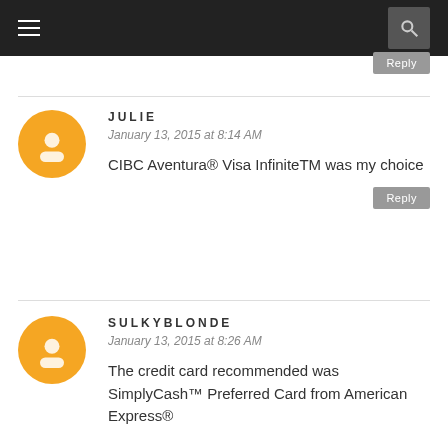≡ [menu] [search]
Reply
JULIE
January 13, 2015 at 8:14 AM
CIBC Aventura® Visa InfiniteTM was my choice
Reply
SULKYBLONDE
January 13, 2015 at 8:26 AM
The credit card recommended was SimplyCash™ Preferred Card from American Express®